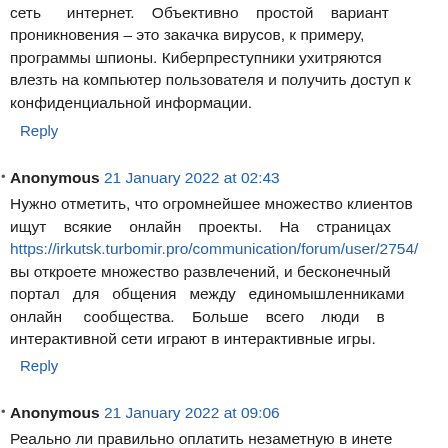сеть интернет. Объективно простой вариант проникновения – это закачка вирусов, к примеру, программы шпионы. Киберпреступники ухитряются влезть на компьютер пользователя и получить доступ к конфиденциальной информации.
Reply
Anonymous 21 January 2022 at 02:43
Нужно отметить, что огромнейшее множество клиентов ищут всякие онлайн проекты. На страницах https://irkutsk.turbomir.pro/communication/forum/user/2754/ вы откроете множество развлечений, и бесконечный портал для общения между единомышленниками онлайн сообщества. Больше всего люди в интерактивной сети играют в интерактивные игры.
Reply
Anonymous 21 January 2022 at 09:06
Реально ли правильно оплатить незаметную в инете